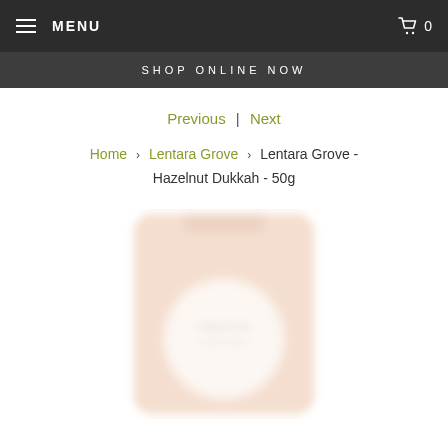MENU   0
SHOP ONLINE NOW
Previous | Next
Home > Lentara Grove > Lentara Grove - Hazelnut Dukkah - 50g
[Figure (photo): Blurred product packaging image of Lentara Grove Hazelnut Dukkah 50g, a light peach/cream colored bag with a circular label]